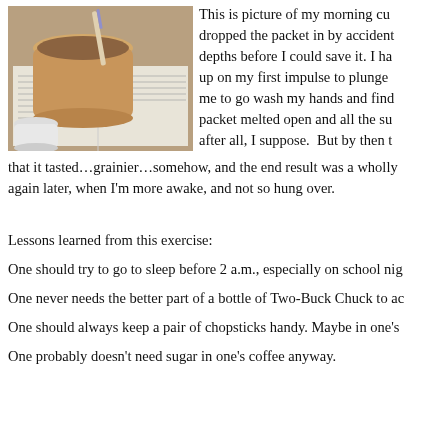[Figure (photo): A photo of a morning coffee cup with a toothbrush or similar item sticking out, sitting on an open book, with a small white cup nearby.]
This is picture of my morning cu... dropped the packet in by accident... depths before I could save it. I ha... up on my first impulse to plunge ... me to go wash my hands and find... packet melted open and all the su... after all, I suppose. But by then t...
that it tasted…grainier…somehow, and the end result was a wholly again later, when I'm more awake, and not so hung over.
Lessons learned from this exercise:
One should try to go to sleep before 2 a.m., especially on school nig...
One never needs the better part of a bottle of Two-Buck Chuck to ac...
One should always keep a pair of chopsticks handy. Maybe in one's...
One probably doesn't need sugar in one's coffee anyway.